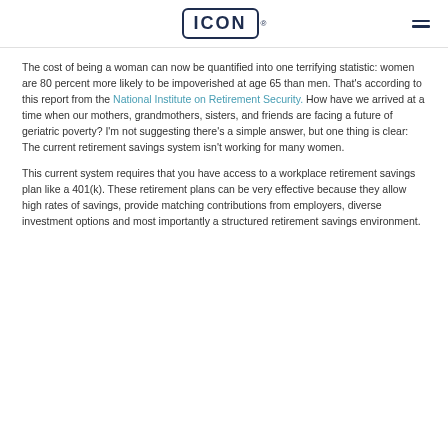ICON
The cost of being a woman can now be quantified into one terrifying statistic: women are 80 percent more likely to be impoverished at age 65 than men. That's according to this report from the National Institute on Retirement Security. How have we arrived at a time when our mothers, grandmothers, sisters, and friends are facing a future of geriatric poverty? I'm not suggesting there's a simple answer, but one thing is clear: The current retirement savings system isn't working for many women.
This current system requires that you have access to a workplace retirement savings plan like a 401(k). These retirement plans can be very effective because they allow high rates of savings, provide matching contributions from employers, diverse investment options and most importantly a structured retirement savings environment.